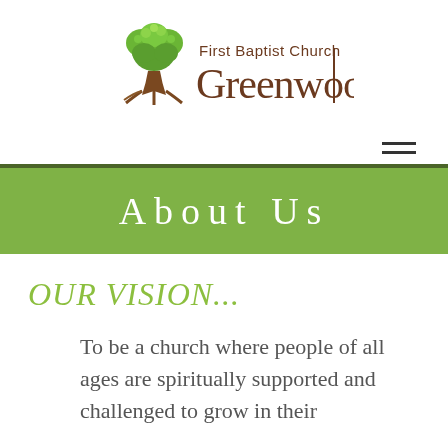[Figure (logo): First Baptist Church Greenwood logo with green tree and brown stylized text]
[Figure (illustration): Hamburger menu icon with two horizontal lines]
About Us
OUR VISION...
To be a church where people of all ages are spiritually supported and challenged to grow in their